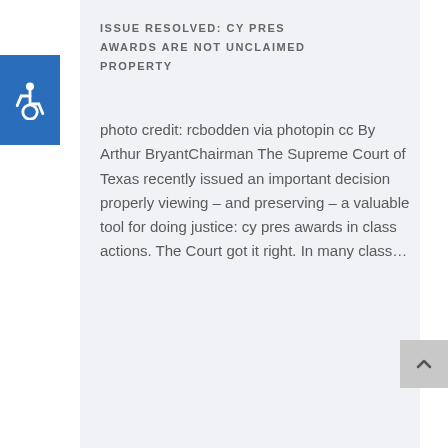ISSUE RESOLVED: CY PRES AWARDS ARE NOT UNCLAIMED PROPERTY
photo credit: rcbodden via photopin cc By Arthur BryantChairman The Supreme Court of Texas recently issued an important decision properly viewing – and preserving – a valuable tool for doing justice: cy pres awards in class actions. The Court got it right. In many class…